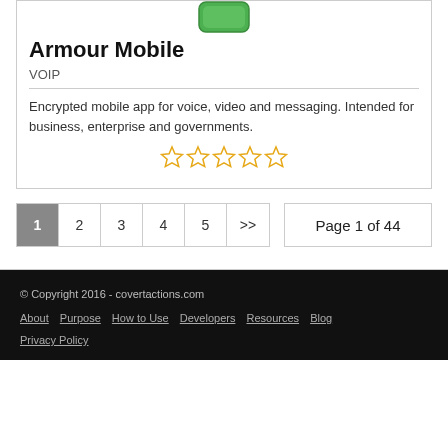[Figure (logo): Green rounded rectangle app icon for Armour Mobile]
Armour Mobile
VOIP
Encrypted mobile app for voice, video and messaging. Intended for business, enterprise and governments.
[Figure (other): Five empty star rating icons in orange/gold]
1  2  3  4  5  >>
Page 1 of 44
© Copyright 2016 - covertactions.com
About  Purpose  How to Use  Developers  Resources  Blog
Privacy Policy